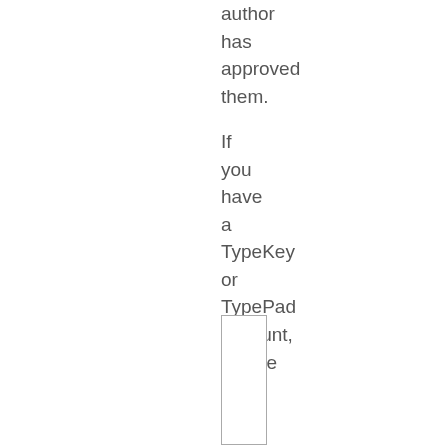author has approved them.

If you have a TypeKey or TypePad account, please Sign In
[Figure (other): An empty rectangular input/text box with a thin border]